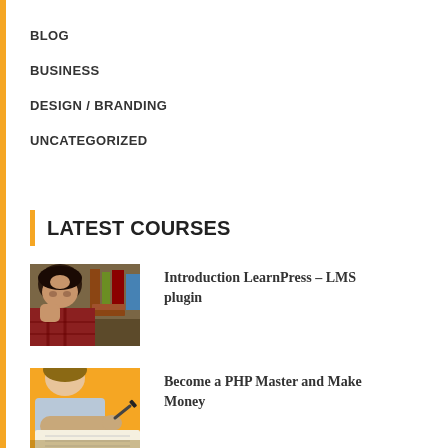BLOG
BUSINESS
DESIGN / BRANDING
UNCATEGORIZED
LATEST COURSES
[Figure (photo): Student studying with books, looking stressed, head resting on hand]
Introduction LearnPress – LMS plugin
[Figure (photo): Person writing on notebook against orange background]
Become a PHP Master and Make Money